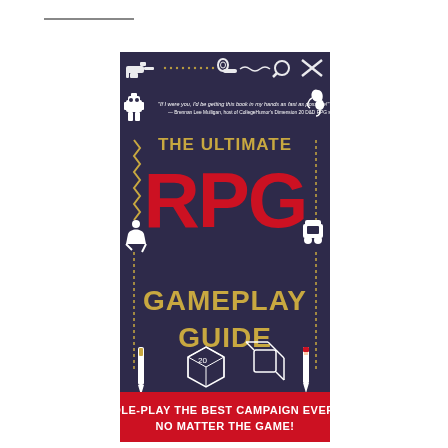[Figure (illustration): Book cover of 'The Ultimate RPG Gameplay Guide' showing a dark navy/purple background with red and gold lettering. Features icons of various RPG elements (ray gun, pipe, magnifying glass, robot, dragon, knight, dice, pencil, fountain pen). A quote at the top reads: 'If I were you, I'd be getting this book in my hands as fast as possible!' — Brennan Lee Mulligan, host of CollegeHumor's Dimension 20 D&D RPG show. Bottom red banner reads: ROLE-PLAY THE BEST CAMPAIGN EVER—NO MATTER THE GAME!]